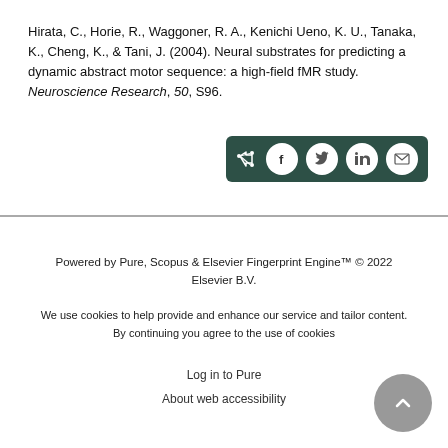Hirata, C., Horie, R., Waggoner, R. A., Kenichi Ueno, K. U., Tanaka, K., Cheng, K., & Tani, J. (2004). Neural substrates for predicting a dynamic abstract motor sequence: a high-field fMR study. Neuroscience Research, 50, S96.
[Figure (other): Social share button bar with icons for share, Facebook, Twitter, LinkedIn, and email on a dark green background]
Powered by Pure, Scopus & Elsevier Fingerprint Engine™ © 2022 Elsevier B.V.

We use cookies to help provide and enhance our service and tailor content. By continuing you agree to the use of cookies

Log in to Pure

About web accessibility